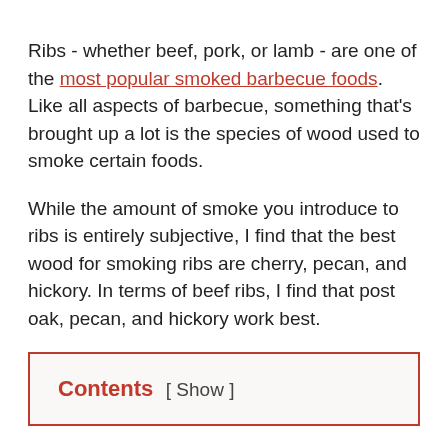Ribs - whether beef, pork, or lamb - are one of the most popular smoked barbecue foods. Like all aspects of barbecue, something that's brought up a lot is the species of wood used to smoke certain foods.
While the amount of smoke you introduce to ribs is entirely subjective, I find that the best wood for smoking ribs are cherry, pecan, and hickory. In terms of beef ribs, I find that post oak, pecan, and hickory work best.
Contents [ Show ]
A Quick Word About